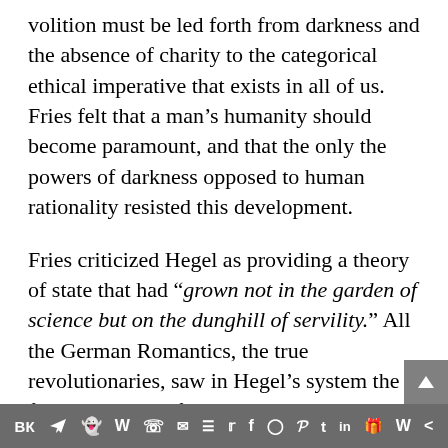volition must be led forth from darkness and the absence of charity to the categorical ethical imperative that exists in all of us. Fries felt that a man's humanity should become paramount, and that the only the powers of darkness opposed to human rationality resisted this development.
Fries criticized Hegel as providing a theory of state that had “grown not in the garden of science but on the dunghill of servility.” All the German Romantics, the true revolutionaries, saw in Hegel’s system the firmest bastion of political reaction. Ironically, Hegelian philosophy became a ready incubator for pseudo-revolutionary fantasies in the minds of Marx and Engels and
VK | Telegram | Reddit | WordPress | WhatsApp | Email | Buffer | Twitter | Facebook | Instagram | Pinterest | Tumblr | LinkedIn | Share | Wattpad | More